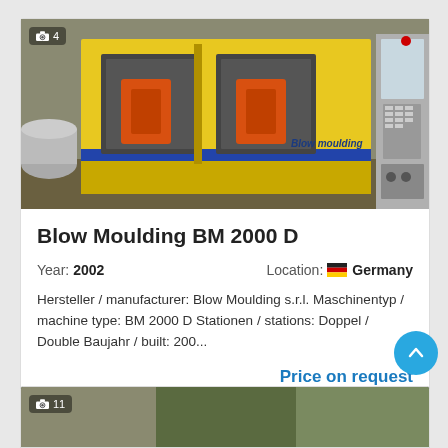[Figure (photo): Blow Moulding BM 2000 D industrial machine, yellow and blue casing with orange components, control panel on right side, photo counter badge showing camera icon and 4]
Blow Moulding BM 2000 D
Year: 2002   Location: Germany
Hersteller / manufacturer: Blow Moulding s.r.l. Maschinentyp / machine type: BM 2000 D Stationen / stations: Doppel / Double Baujahr / built: 200...
Price on request
[Figure (photo): Partial view of another machine listing at bottom of page, photo counter badge showing camera icon and 11]